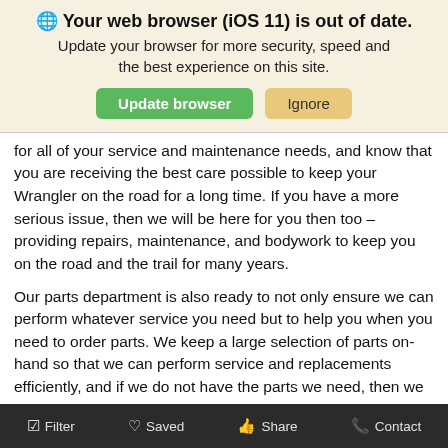[Figure (screenshot): Browser update notification banner with globe icon, bold warning text 'Your web browser (iOS 11) is out of date.', subtitle 'Update your browser for more security, speed and the best experience on this site.', and two buttons: green 'Update browser' and tan 'Ignore'.]
for all of your service and maintenance needs, and know that you are receiving the best care possible to keep your Wrangler on the road for a long time. If you have a more serious issue, then we will be here for you then too – providing repairs, maintenance, and bodywork to keep you on the road and the trail for many years.
Our parts department is also ready to not only ensure we can perform whatever service you need but to help you when you need to order parts. We keep a large selection of parts on-hand so that we can perform service and replacements efficiently, and if we do not have the parts we need, then we will order them and get them here quickly. But we can also help you with ordering any parts you might want, including OEM factory parts and aftermarket accessories to take your used Jeep Wrangler even further. Even if you do not need us to work on your vehicle for you, and want to do the work yourself, we can help you get
Filter   Saved   Share   Contact